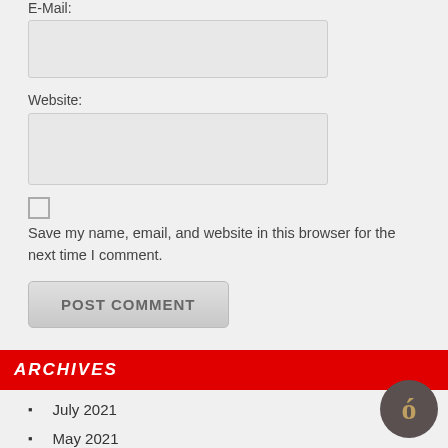E-Mail:
Website:
Save my name, email, and website in this browser for the next time I comment.
POST COMMENT
ARCHIVES
July 2021
May 2021
March 2021
January 2021